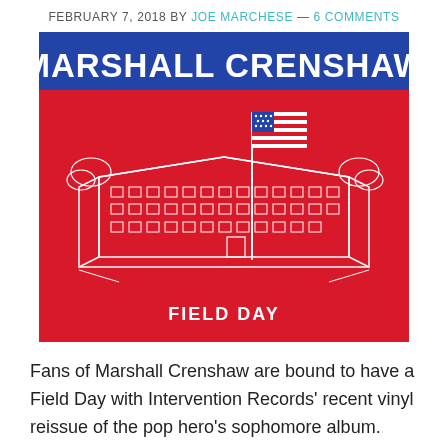FEBRUARY 7, 2018 BY JOE MARCHESE — 6 COMMENTS
[Figure (illustration): Album cover for Marshall Crenshaw 'Field Day'. Blue banner at top with bold white text 'MARSHALL CRENSHAW'. Below is a red background with a white line-art illustration of a large school/office building with an American flag on a tall pole. At the bottom in white bold text: 'FIELD DAY'.]
Fans of Marshall Crenshaw are bound to have a Field Day with Intervention Records' recent vinyl reissue of the pop hero's sophomore album.  This delightful